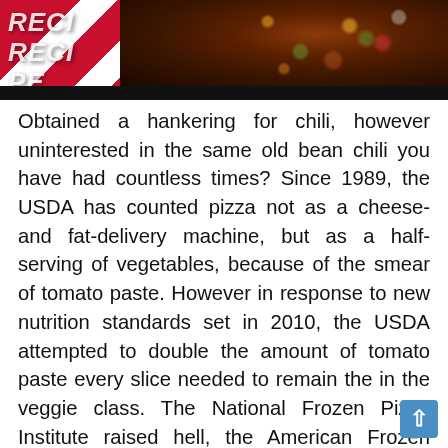[Figure (photo): Top portion shows a chili dish photo with colorful vegetables and meat in a dark pan, overlaid on a red-and-white checkered tablecloth background. Text overlay reads 'RECIPE' in large white italic letters. A dark black bar runs below the image.]
Obtained a hankering for chili, however uninterested in the same old bean chili you have had countless times? Since 1989, the USDA has counted pizza not as a cheese- and fat-delivery machine, but as a half-serving of vegetables, because of the smear of tomato paste. However in response to new nutrition standards set in 2010, the USDA attempted to double the amount of tomato paste every slice needed to remain the in the veggie class. The National Frozen Pizza Institute raised hell, the American Frozen Food Institute nearly doubled its campaign contributions to